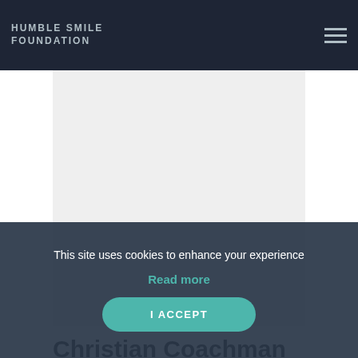HUMBLE SMILE FOUNDATION
[Figure (photo): Profile photo placeholder area — light gray rectangle]
Christian Coachman
Sao Paulo, Brazil
In addition to private dental practice in Sao Paulo, Christian founded Digital Smile Design, and spends most of his time sharing his innovative concepts in smile design, esthetic dentistry, and oral rehabilitation, with dentists all around the world.
This site uses cookies to enhance your experience
Read more
I ACCEPT